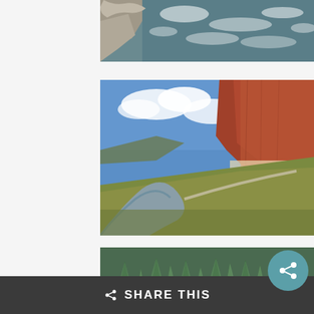[Figure (photo): Partial view of whitewater rapids with rocky shoreline and turbulent blue-grey water, cropped at top]
[Figure (photo): Canyon landscape with a winding river/road below towering red sandstone cliffs, blue sky with white clouds]
[Figure (photo): Aerial view of dense evergreen forest with tall green coniferous trees, cropped at bottom]
SHARE THIS